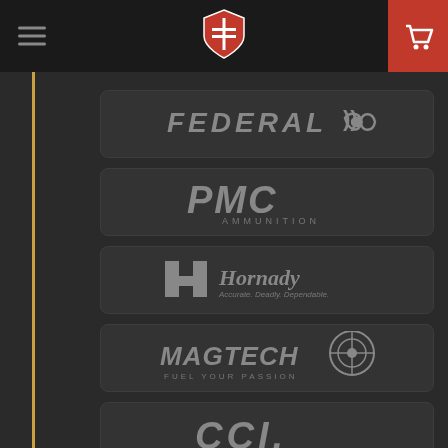[Figure (logo): Navigation header with hamburger menu icon on left, shield/badge logo in center, red cart button on right]
[Figure (logo): Federal ammunition brand logo in gray on dark rounded card]
[Figure (logo): PMC Ammunition brand logo in gray on dark rounded card]
[Figure (logo): Hornady Accurate Deadly Dependable brand logo in gray on dark rounded card]
[Figure (logo): Magtech Fuel Your Passion brand logo in gray on dark rounded card]
[Figure (logo): CCI brand logo in gray on dark rounded card]